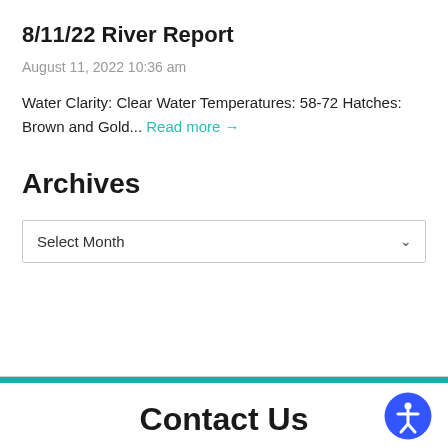8/11/22 River Report
August 11, 2022 10:36 am
Water Clarity: Clear Water Temperatures: 58-72 Hatches: Brown and Gold... Read more →
Archives
Select Month
Contact Us